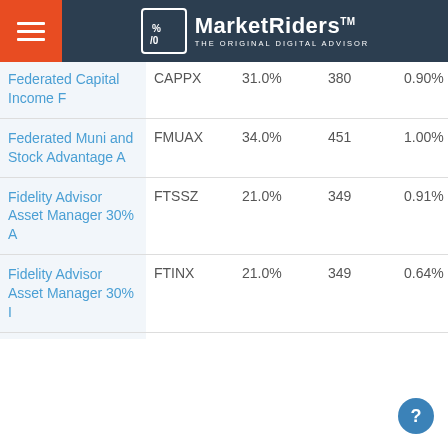MarketRiders THE ORIGINAL DIGITAL ADVISOR
| Fund Name | Ticker | Stock % | Holdings | Expense |
| --- | --- | --- | --- | --- |
| Federated Capital Income F | CAPPX | 31.0% | 380 | 0.90% |
| Federated Muni and Stock Advantage A | FMUAX | 34.0% | 451 | 1.00% |
| Fidelity Advisor Asset Manager 30% A | FTSSZ | 21.0% | 349 | 0.91% |
| Fidelity Advisor Asset Manager 30% I | FTINX | 21.0% | 349 | 0.64% |